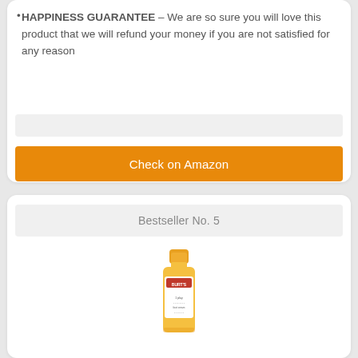HAPPINESS GUARANTEE – We are so sure you will love this product that we will refund your money if you are not satisfied for any reason
Check on Amazon
Bestseller No. 5
[Figure (photo): Yellow Burt's Bees product bottle (small, travel size) with orange cap]